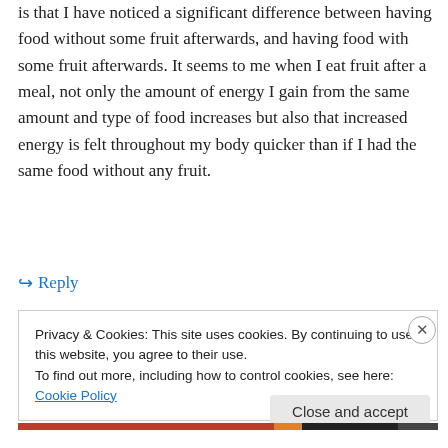is that I have noticed a significant difference between having food without some fruit afterwards, and having food with some fruit afterwards. It seems to me when I eat fruit after a meal, not only the amount of energy I gain from the same amount and type of food increases but also that increased energy is felt throughout my body quicker than if I had the same food without any fruit.
↪ Reply
Privacy & Cookies: This site uses cookies. By continuing to use this website, you agree to their use.
To find out more, including how to control cookies, see here: Cookie Policy
Close and accept